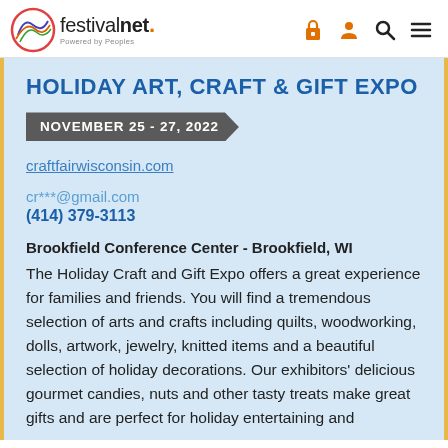festivalnet. Powered by Peoples
HOLIDAY ART, CRAFT & GIFT EXPO
NOVEMBER 25 - 27, 2022
craftfairwisconsin.com
cr***@gmail.com
(414) 379-3113
Brookfield Conference Center - Brookfield, WI
The Holiday Craft and Gift Expo offers a great experience for families and friends. You will find a tremendous selection of arts and crafts including quilts, woodworking, dolls, artwork, jewelry, knitted items and a beautiful selection of holiday decorations. Our exhibitors' delicious gourmet candies, nuts and other tasty treats make great gifts and are perfect for holiday entertaining and